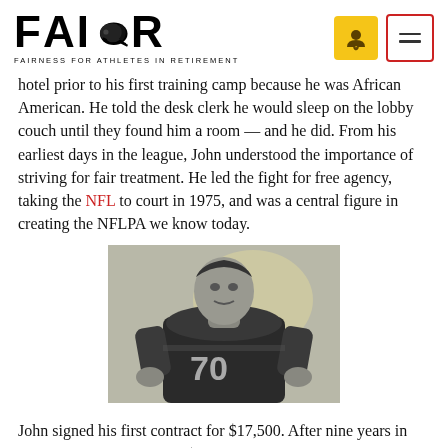FAIR — FAIRNESS FOR ATHLETES IN RETIREMENT
hotel prior to his first training camp because he was African American. He told the desk clerk he would sleep on the lobby couch until they found him a room — and he did. From his earliest days in the league, John understood the importance of striving for fair treatment. He led the fight for free agency, taking the NFL to court in 1975, and was a central figure in creating the NFLPA we know today.
[Figure (photo): Black and white photograph of a football player wearing jersey number 70, leaning forward in a posed stance.]
John signed his first contract for $17,500. After nine years in the league he was making $35,000. He worked a